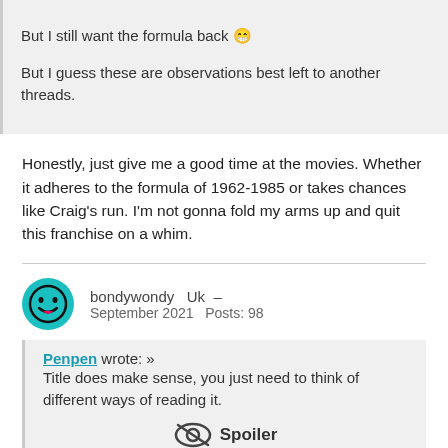But I still want the formula back 😁
But I guess these are observations best left to another threads.
Honestly, just give me a good time at the movies. Whether it adheres to the formula of 1962-1985 or takes chances like Craig's run. I'm not gonna fold my arms up and quit this franchise on a whim.
bondywondy   Uk  –
September 2021   Posts: 98
Penpen wrote: »
Title does make sense, you just need to think of different ways of reading it.
Spoiler